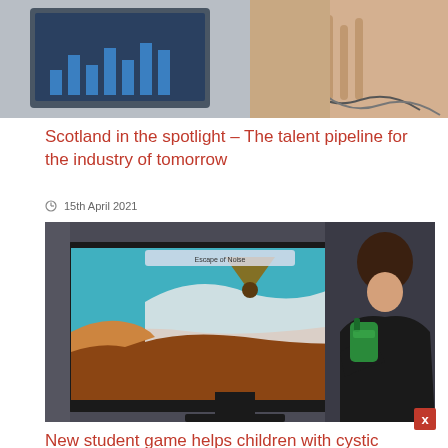[Figure (photo): Top portion of a photo showing a computer monitor with charts/graphs on screen, and hands visible in the background holding cables, in an office or lab setting.]
Scotland in the spotlight – The talent pipeline for the industry of tomorrow
15th April 2021
[Figure (photo): A young man in a black shirt is looking into a green handheld device (inhaler/nebulizer), standing in front of a large TV monitor displaying colorful artistic game graphics with a hand and triangular shape. The setting appears to be a classroom or exhibition space.]
New student game helps children with cystic fibrosis do their breathing exercises